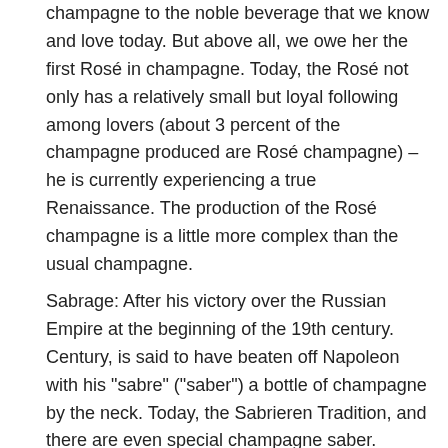champagne to the noble beverage that we know and love today. But above all, we owe her the first Rosé in champagne. Today, the Rosé not only has a relatively small but loyal following among lovers (about 3 percent of the champagne produced are Rosé champagne) – he is currently experiencing a true Renaissance. The production of the Rosé champagne is a little more complex than the usual champagne.
Sabrage: After his victory over the Russian Empire at the beginning of the 19th century. Century, is said to have beaten off Napoleon with his "sabre" ("saber") a bottle of champagne by the neck. Today, the Sabrieren Tradition, and there are even special champagne saber. Nevertheless, caution is necessary if you want to hit like on the field: By the internal pressure in the bottle, the Cork and the bottle neck will be able to fly a few meters. Therefore, only Experienced